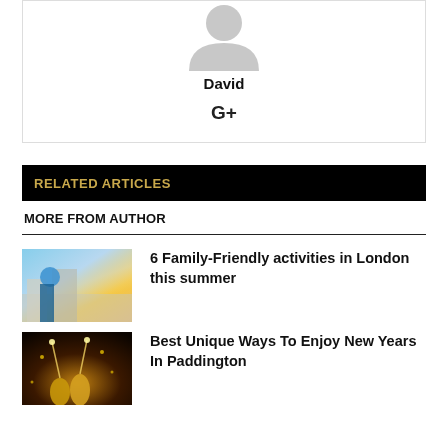[Figure (illustration): Generic user avatar silhouette in gray]
David
G+
RELATED ARTICLES
MORE FROM AUTHOR
[Figure (photo): Woman in blue at a busy outdoor urban area, London]
6 Family-Friendly activities in London this summer
[Figure (photo): Champagne glasses with sparklers and bokeh lights for New Years]
Best Unique Ways To Enjoy New Years In Paddington